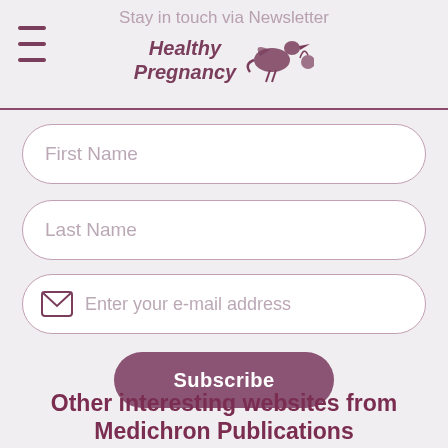Stay in touch via Newsletter — Healthy Pregnancy
First Name
Last Name
Enter your e-mail address
Subscribe
Other interesting websites from Medichron Publications